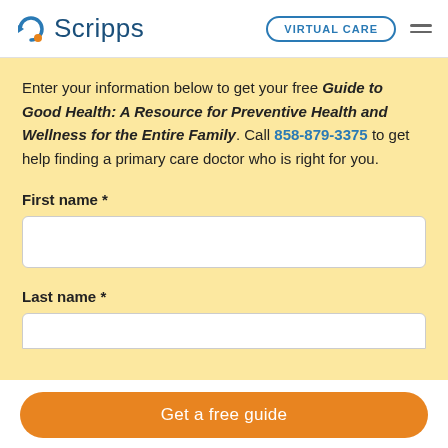Scripps | VIRTUAL CARE
Enter your information below to get your free Guide to Good Health: A Resource for Preventive Health and Wellness for the Entire Family. Call 858-879-3375 to get help finding a primary care doctor who is right for you.
First name *
Last name *
Get a free guide